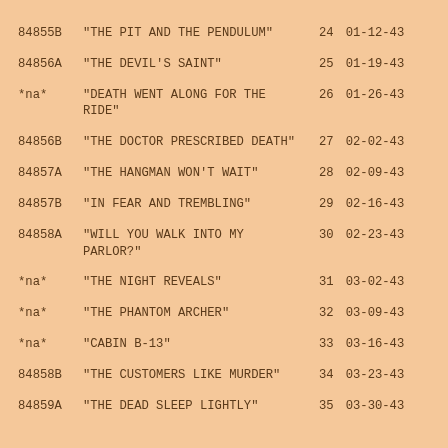| ID | Title | Ep | Date |
| --- | --- | --- | --- |
| 84855B | "THE PIT AND THE PENDULUM" | 24 | 01-12-43 |
| 84856A | "THE DEVIL'S SAINT" | 25 | 01-19-43 |
| *na* | "DEATH WENT ALONG FOR THE RIDE" | 26 | 01-26-43 |
| 84856B | "THE DOCTOR PRESCRIBED DEATH" | 27 | 02-02-43 |
| 84857A | "THE HANGMAN WON'T WAIT" | 28 | 02-09-43 |
| 84857B | "IN FEAR AND TREMBLING" | 29 | 02-16-43 |
| 84858A | "WILL YOU WALK INTO MY PARLOR?" | 30 | 02-23-43 |
| *na* | "THE NIGHT REVEALS" | 31 | 03-02-43 |
| *na* | "THE PHANTOM ARCHER" | 32 | 03-09-43 |
| *na* | "CABIN B-13" | 33 | 03-16-43 |
| 84858B | "THE CUSTOMERS LIKE MURDER" | 34 | 03-23-43 |
| 84859A | "THE DEAD SLEEP LIGHTLY" | 35 | 03-30-43 |